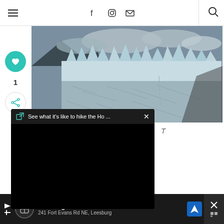Navigation bar with hamburger menu, social icons (Facebook, Instagram, Email), search button
[Figure (photo): Aerial or ground-level photograph of a glacier with jagged ice formations, dark rock, and cloudy sky in the background]
[Figure (screenshot): Video popup overlay with dark header showing 'See what it's like to hike the Ho...' and a close X button, with a black video player body below]
Ad: Leesburg OPEN 10AM-9PM 241 Fort Evans Rd NE, Leesburg